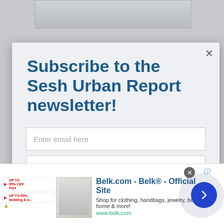[Figure (screenshot): Background page partially visible behind modal overlay]
Subscribe to the Sesh Urban Report newsletter!
Enter email here
Enter first name
Subscribe
And don't worry, we hate spam too! You can unsubscribe at
[Figure (screenshot): Advertisement bar for Belk.com - Belk® - Official Site. Shop for clothing, handbags, jewelry, beauty, home & more! www.belk.com]